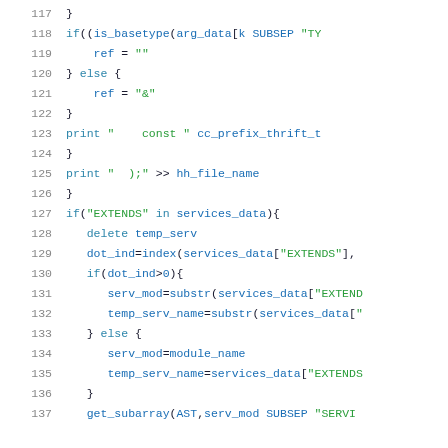[Figure (screenshot): Source code listing in a monospaced editor view, lines 117-137, showing AWK/scripting code with syntax highlighting. Blue for keywords and identifiers, green for string literals, dark for punctuation.]